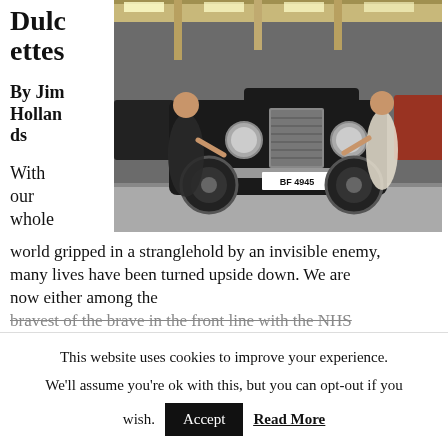Dulcettes
By Jim Hollands
[Figure (photo): Two women in 1920s flapper dresses posing on either side of a vintage black Rolls-Royce car with license plate BF 4945, inside a garage/barn with wooden beams]
With our whole world gripped in a stranglehold by an invisible enemy, many lives have been turned upside down. We are now either among the bravest of the brave in the front line with the NHS
This website uses cookies to improve your experience. We'll assume you're ok with this, but you can opt-out if you wish.  Accept  Read More